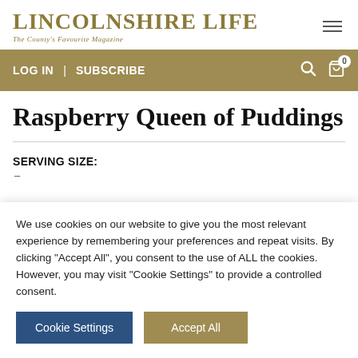LINCOLNSHIRE LIFE
The County's Favourite Magazine
LOG IN | SUBSCRIBE
Raspberry Queen of Puddings
SERVING SIZE:
We use cookies on our website to give you the most relevant experience by remembering your preferences and repeat visits. By clicking "Accept All", you consent to the use of ALL the cookies. However, you may visit "Cookie Settings" to provide a controlled consent.